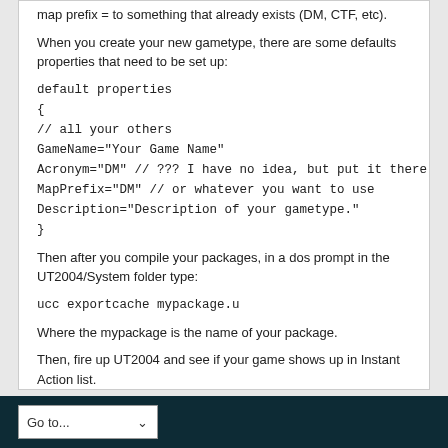map prefix = to something that already exists (DM, CTF, etc).
When you create your new gametype, there are some defaults properties that need to be set up:
default properties
{
// all your others
GameName="Your Game Name"
Acronym="DM" // ??? I have no idea, but put it there
MapPrefix="DM" // or whatever you want to use
Description="Description of your gametype."
}
Then after you compile your packages, in a dos prompt in the UT2004/System folder type:
ucc exportcache mypackage.u
Where the mypackage is the name of your package.
Then, fire up UT2004 and see if your game shows up in Instant Action list.
Go to...